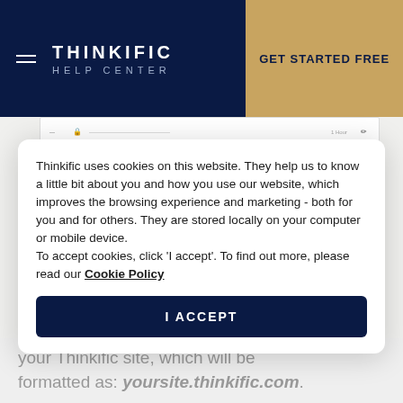THINKIFIC HELP CENTER | GET STARTED FREE
[Figure (screenshot): Partial screenshot of a DNS records table with rows showing MX records, including type, lock icon, value fields (smtp.secureserver.net, ns73.domaincontrol.com, ns74.domaincontrol.com), TTL of 1 hour, and an ADD button in green]
Thinkific uses cookies on this website. They help us to know a little bit about you and how you use our website, which improves the browsing experience and marketing - both for you and for others. They are stored locally on your computer or mobile device.
To accept cookies, click 'I accept'. To find out more, please read our Cookie Policy
I ACCEPT
your Thinkific site, which will be formatted as: yoursite.thinkific.com.